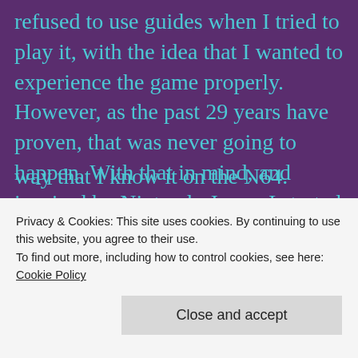refused to use guides when I tried to play it, with the idea that I wanted to experience the game properly. However, as the past 29 years have proven, that was never going to happen. With that in mind, and inspired by Nintendo Jump, I started the game on my Twitch stream on Sunday, and yesterday I finished it.
I used a map of the overworld to help me find where the dungeons were, and to find a couple of health upgrades and cash caches along the way
Privacy & Cookies: This site uses cookies. By continuing to use this website, you agree to their use.
To find out more, including how to control cookies, see here: Cookie Policy
way that I know it on the N64.